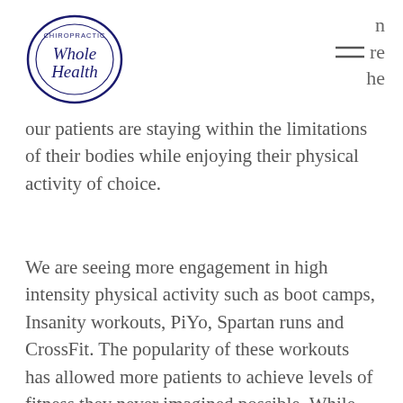Chiropractic Whole Health — navigation header with logo and menu icon
our patients are staying within the limitations of their bodies while enjoying their physical activity of choice.
We are seeing more engagement in high intensity physical activity such as boot camps, Insanity workouts, PiYo, Spartan runs and CrossFit. The popularity of these workouts has allowed more patients to achieve levels of fitness they never imagined possible. While pushing the body to become more active and fit is great, there can be stress on the body from such vigorous workouts. Often, our